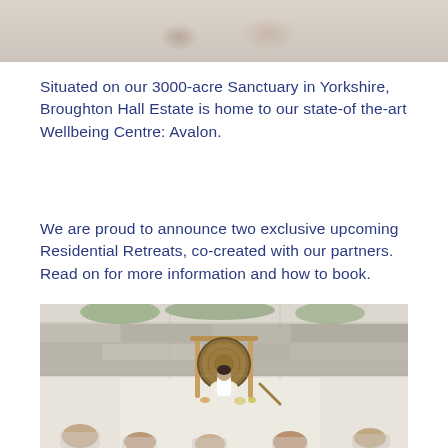[Figure (photo): Partial top of page photo showing what appears to be a mat or cushions on a floor, cropped at the top of the page]
Situated on our 3000-acre Sanctuary in Yorkshire, Broughton Hall Estate is home to our state-of the-art Wellbeing Centre: Avalon.
We are proud to announce two exclusive upcoming Residential Retreats, co-created with our partners. Read on for more information and how to book.
[Figure (photo): A person sitting cross-legged in front of a large bronze gong on a wooden stand inside a glass-walled room with a stone wall visible outside. Other people are lying on the floor in the foreground, as if in a relaxation or sound healing session.]